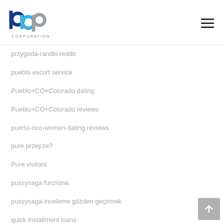bbp CORPORATION
przygoda-randki reddit
pueblo escort service
Pueblo+CO+Colorado dating
Pueblo+CO+Colorado reviews
puerto-rico-women-dating reviews
pure przejrze?
Pure visitors
pussysaga funziona
pussysaga-inceleme gözden geçirmek
quick installment loans